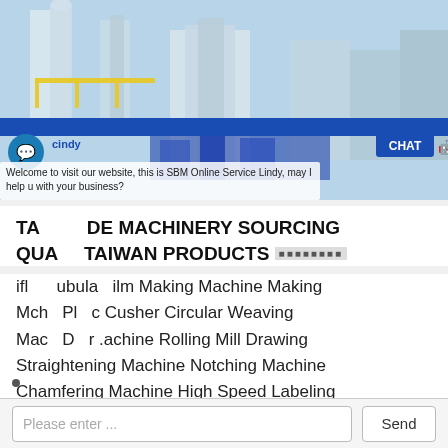[Figure (photo): Industrial machinery / manufacturing plant interior with large white silos, piping, and blue/yellow equipment — screenshot of a website with chat overlay]
TAIWAN MADE MACHINERY SOURCING QUALITY TAIWAN PRODUCTS
Inflation Tubular Film Making Machine Making Machine Plastic Crusher Circular Weaving Machine Drawing Machine Rolling Mill Drawing Straightening Machine Notching Machine Chamfering Machine High Speed Labeling Machine With Automatic Feeding Collection
Please enter ...
Send